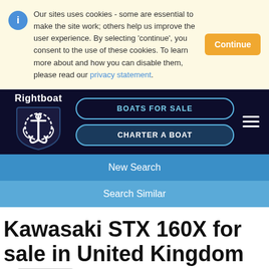Our sites uses cookies - some are essential to make the site work; others help us improve the user experience. By selecting 'continue', you consent to the use of these cookies. To learn more about and how you can disable them, please read our privacy statement.
[Figure (screenshot): Rightboat website navigation bar with logo (anchor shield), BOATS FOR SALE button, CHARTER A BOAT button, and hamburger menu]
New Search
Search Similar
Kawasaki STX 160X for sale in United Kingdom for £13,199